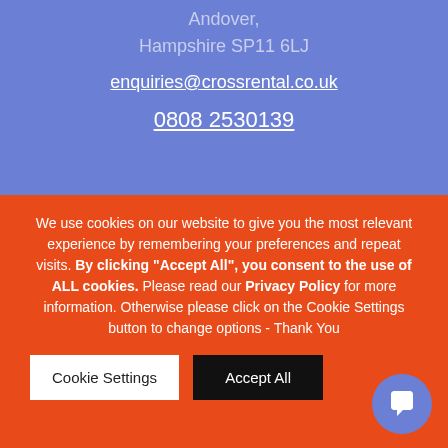Andover,
Hampshire SP11 6LJ
enquiries@crossrental.co.uk
0808 2530139
We use cookies on our website to give you the most relevant experience by remembering your preferences and repeat visits. By clicking “Accept All”, you consent to the use of ALL cookies. Please read our Privacy Policy for more information. Otherwise please click on the Cookie Settings button to change options - Thank You